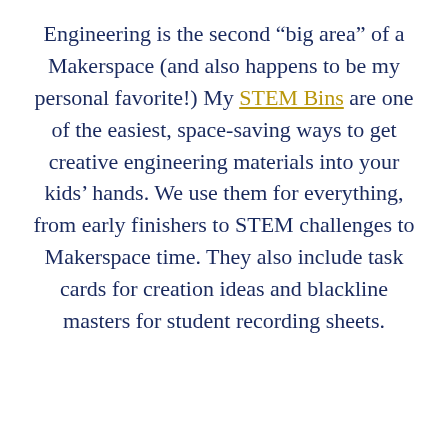Engineering is the second “big area” of a Makerspace (and also happens to be my personal favorite!) My STEM Bins are one of the easiest, space-saving ways to get creative engineering materials into your kids’ hands. We use them for everything, from early finishers to STEM challenges to Makerspace time. They also include task cards for creation ideas and blackline masters for student recording sheets.